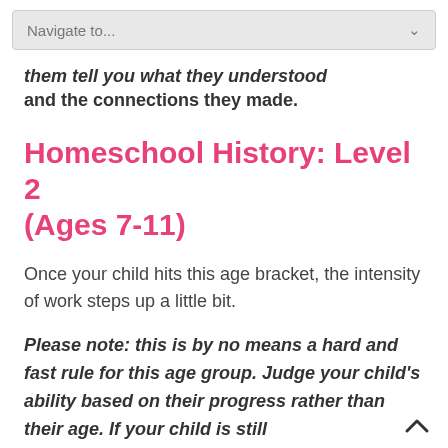Navigate to...
them tell you what they understood and the connections they made.
Homeschool History: Level 2 (Ages 7-11)
Once your child hits this age bracket, the intensity of work steps up a little bit.
Please note: this is by no means a hard and fast rule for this age group. Judge your child's ability based on their progress rather than their age. If your child is still